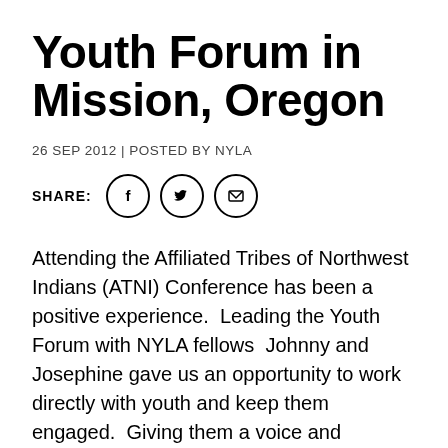Youth Forum in Mission, Oregon
26 SEP 2012 | POSTED BY NYLA
SHARE: [Facebook] [Twitter] [Email]
Attending the Affiliated Tribes of Northwest Indians (ATNI) Conference has been a positive experience.  Leading the Youth Forum with NYLA fellows  Johnny and Josephine gave us an opportunity to work directly with youth and keep them engaged.  Giving them a voice and guiding  their visions through PSA’s was not only an good experience for them but the ending results was great.  Knowing that ATNI includes